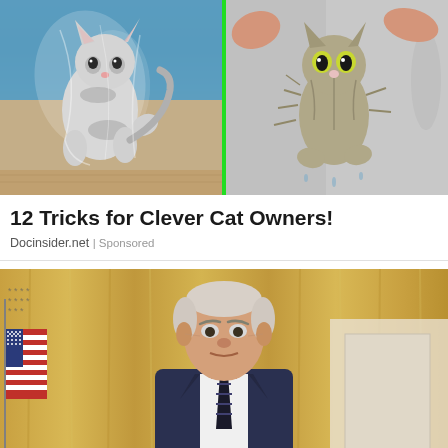[Figure (photo): Two cat photos side by side: left shows a gray and white cat standing upright wrapped in plastic/cling wrap against a blue background with green border; right shows a wet tabby kitten being held by human hands against a gray background.]
12 Tricks for Clever Cat Owners!
Docinsider.net | Sponsored
[Figure (photo): Photo of President Joe Biden standing at a podium with microphones, wearing a dark blue suit and striped tie, in what appears to be the White House with gold curtains and an American flag visible.]